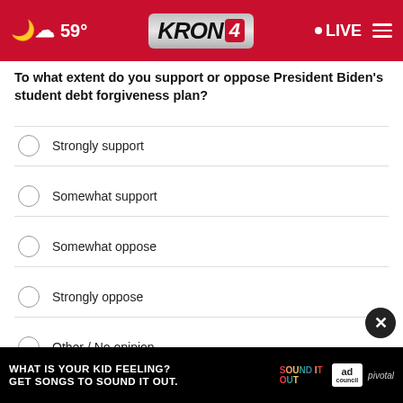KRON 4 — 59° LIVE
To what extent do you support or oppose President Biden's student debt forgiveness plan?
Strongly support
Somewhat support
Somewhat oppose
Strongly oppose
Other / No opinion
NEXT *
* By clicking "NEXT" you agree to the following: We use cookies to track your survey answers. If you would like to continue with this survey please read and agree to the CivicScience Privacy Policy and Terms of
[Figure (infographic): Ad banner: WHAT IS YOUR KID FEELING? GET SONGS TO SOUND IT OUT. SOUND IT OUT — ad council, pivotal]